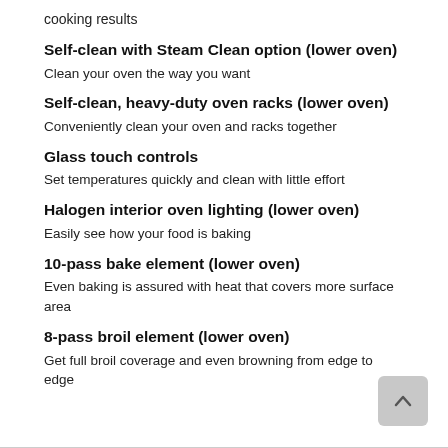cooking results
Self-clean with Steam Clean option (lower oven)
Clean your oven the way you want
Self-clean, heavy-duty oven racks (lower oven)
Conveniently clean your oven and racks together
Glass touch controls
Set temperatures quickly and clean with little effort
Halogen interior oven lighting (lower oven)
Easily see how your food is baking
10-pass bake element (lower oven)
Even baking is assured with heat that covers more surface area
8-pass broil element (lower oven)
Get full broil coverage and even browning from edge to edge